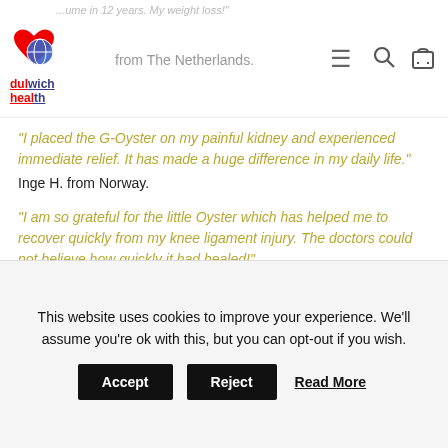Dulwich Health — navigation header with logo, hamburger menu, search and cart icons
“I placed the G-Oyster on my painful kidney and experienced immediate relief. It has made a huge difference in my daily life.”
Inge H. from Norway.
“I am so grateful for the little Oyster which has helped me to recover quickly from my knee ligament injury. The doctors could not believe how quickly it had healed!”
Maria B. from Switzerland.
“I had back pain for years and have taken a lot of painkillers.
This website uses cookies to improve your experience. We'll assume you're ok with this, but you can opt-out if you wish.